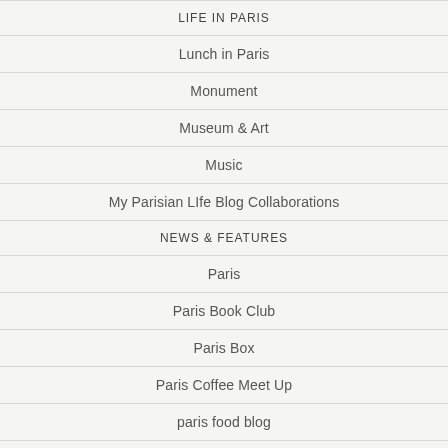LIFE IN PARIS
Lunch in Paris
Monument
Museum & Art
Music
My Parisian LIfe Blog Collaborations
NEWS & FEATURES
Paris
Paris Book Club
Paris Box
Paris Coffee Meet Up
paris food blog
Paris Mo…